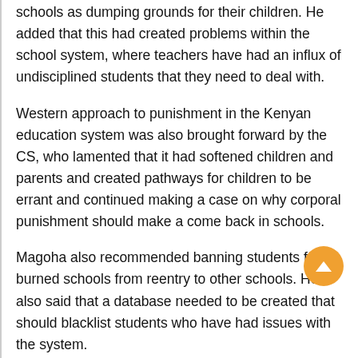schools as dumping grounds for their children. He added that this had created problems within the school system, where teachers have had an influx of undisciplined students that they need to deal with.
Western approach to punishment in the Kenyan education system was also brought forward by the CS, who lamented that it had softened children and parents and created pathways for children to be errant and continued making a case on why corporal punishment should make a come back in schools.
Magoha also recommended banning students from burned schools from reentry to other schools. He also said that a database needed to be created that should blacklist students who have had issues with the system.
Share | Tweet | Share | Reddit
Share | Pin it